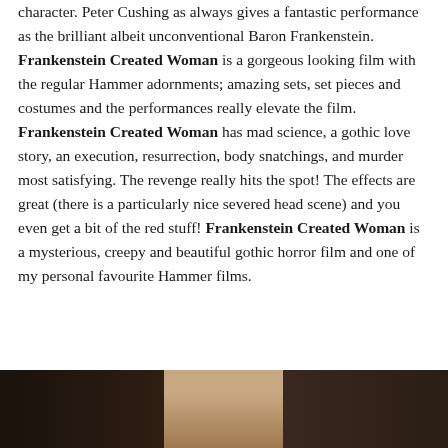character. Peter Cushing as always gives a fantastic performance as the brilliant albeit unconventional Baron Frankenstein. Frankenstein Created Woman is a gorgeous looking film with the regular Hammer adornments; amazing sets, set pieces and costumes and the performances really elevate the film. Frankenstein Created Woman has mad science, a gothic love story, an execution, resurrection, body snatchings, and murder most satisfying. The revenge really hits the spot! The effects are great (there is a particularly nice severed head scene) and you even get a bit of the red stuff! Frankenstein Created Woman is a mysterious, creepy and beautiful gothic horror film and one of my personal favourite Hammer films.
[Figure (photo): A partial photograph showing a person against a dark background, cropped at the bottom of the page.]